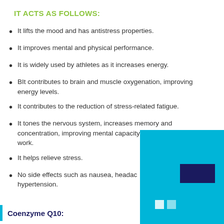IT ACTS AS FOLLOWS:
It lifts the mood and has antistress properties.
It improves mental and physical performance.
It is widely used by athletes as it increases energy.
BIt contributes to brain and muscle oxygenation, improving energy levels.
It contributes to the reduction of stress-related fatigue.
It tones the nervous system, increases memory and concentration, improving mental capacity and performance at work.
It helps relieve stress.
No side effects such as nausea, headache, insomnia or hypertension.
Coenzyme Q10: